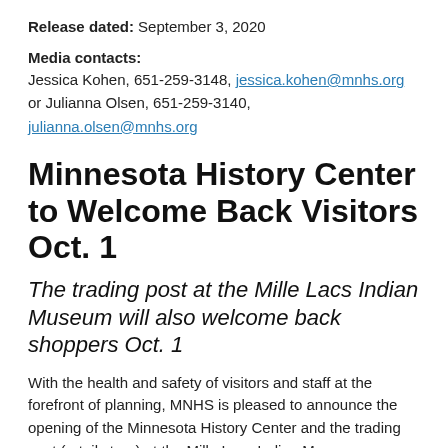Release dated: September 3, 2020
Media contacts:
Jessica Kohen, 651-259-3148, jessica.kohen@mnhs.org
or Julianna Olsen, 651-259-3140, julianna.olsen@mnhs.org
Minnesota History Center to Welcome Back Visitors Oct. 1
The trading post at the Mille Lacs Indian Museum will also welcome back shoppers Oct. 1
With the health and safety of visitors and staff at the forefront of planning, MNHS is pleased to announce the opening of the Minnesota History Center and the trading post (retail store) at the Mille Lacs Indian Museum, beginning Oct. 1, 2020.
Visitors to the History Center can take in special exhibits including First Avenue: Stories of Minnesota's Mainroom and Prince: Before the Rain, which have been extended to Jan. 3, 2021; enjoy grab and go items from Market House by D'Amico